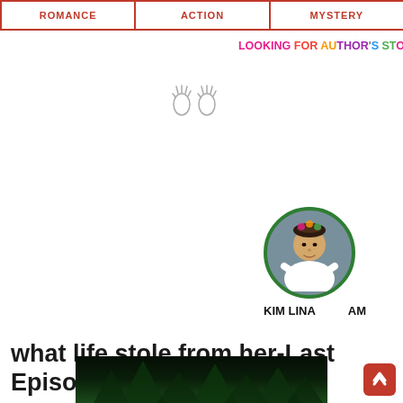ROMANCE | ACTION | MYSTERY
LOOKING FOR AUTHOR'S STO
[Figure (illustration): Two waving hand emoji icons]
[Figure (photo): Circular profile photo of KIM LINA with green ring border]
KIM LINA   AM
what life stole from her-Last Episode
MHIZTA EMY   DECEMBER 22, 2019   0 BLOGGER
SHARE: Facebook Twitter Google+ Pinterest WhatsApp
[Figure (photo): Dark green background image strip at bottom of page]